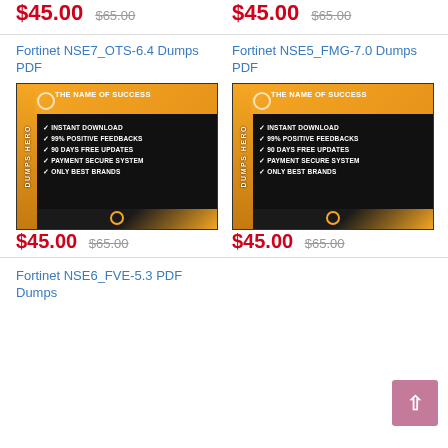$45.00 $65.00 (left, top)
$45.00 $65.00 (right, top)
Fortinet NSE7_OTS-6.4 Dumps PDF
[Figure (illustration): Product box for Fortinet NSE7_OTS-6.4 Dumps PDF, black and gold box with text: THE NAME OF SUCCESS, INSTANT DOWNLOAD, 99% POSITIVE FEEDBACKS, 90 DAYS FREE UPDATES, PAYMENT SECURE SYSTEM, ONLY BEST BRANDS, DUMPS HERO]
Fortinet NSE5_FMG-7.0 Dumps PDF
[Figure (illustration): Product box for Fortinet NSE5_FMG-7.0 Dumps PDF, black and gold box with text: THE NAME OF SUCCESS, INSTANT DOWNLOAD, 99% POSITIVE FEEDBACKS, 90 DAYS FREE UPDATES, PAYMENT SECURE SYSTEM, ONLY BEST BRANDS, DUMPS HERO]
$45.00 $65.00 (left, bottom row)
$45.00 $65.00 (right, bottom row)
Fortinet NSE6_FVE-5.3 PDF Dumps